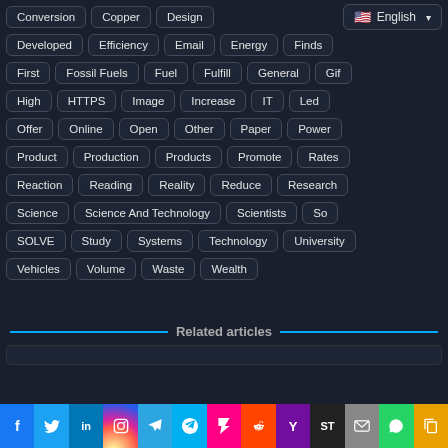Conversion, Copper, Design, English (language selector)
Developed, Efficiency, Email, Energy, Finds
First, Fossil Fuels, Fuel, Fulfill, General, Gif
High, HTTPS, Image, Increase, IT, Led
Offer, Online, Open, Other, Paper, Power
Product, Production, Products, Promote, Rates
Reaction, Reading, Reality, Reduce, Research
Science, Science And Technology, Scientists, So
SOLVE, Study, Systems, Technology, University
Vehicles, Volume, Waste, Wealth
Related articles
[Figure (other): Social media share buttons row: Facebook, Twitter, LinkedIn, Instagram, Telegram, Skype, Flipboard, Reddit, Yahoo, ShareThis, Email, WhatsApp, Copy]